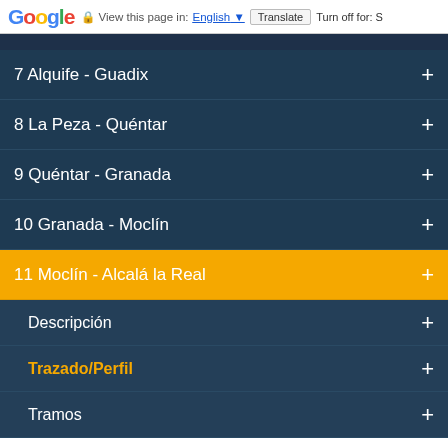Google  View this page in: English  Translate  Turn off for: S
7 Alquife - Guadix
8 La Peza - Quéntar
9 Quéntar - Granada
10 Granada - Moclín
11 Moclín - Alcalá la Real
Descripción
Trazado/Perfil
Tramos
Usamos cookies en nuestro sitio web para proporcionar la experiencia más reelavante recordando tus preferencias y visitas repetitivas. Haciendo click en "ACEPTAR", consientes el uso de TODAS las cookies. Puedes consultar nuestra Política de Cookies: Leer más
Ajustes de Cookies  ACEPTAR  RECHAZAR